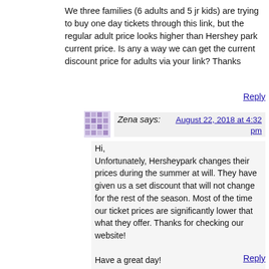We three families (6 adults and 5 jr kids) are trying to buy one day tickets through this link, but the regular adult price looks higher than Hershey park current price. Is any a way we can get the current discount price for adults via your link? Thanks
Reply
Zena says: August 22, 2018 at 4:32 pm
Hi,
Unfortunately, Hersheypark changes their prices during the summer at will. They have given us a set discount that will not change for the rest of the season. Most of the time our ticket prices are significantly lower that what they offer. Thanks for checking our website!

Have a great day!

Zena
Reply